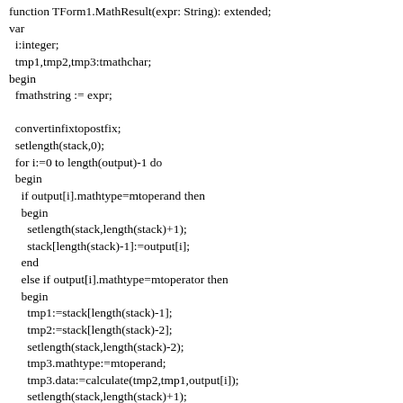function TForm1.MathResult(expr: String): extended;
var
  i:integer;
  tmp1,tmp2,tmp3:tmathchar;
begin
  fmathstring := expr;

  convertinfixtopostfix;
  setlength(stack,0);
  for i:=0 to length(output)-1 do
  begin
    if output[i].mathtype=mtoperand then
    begin
      setlength(stack,length(stack)+1);
      stack[length(stack)-1]:=output[i];
    end
    else if output[i].mathtype=mtoperator then
    begin
      tmp1:=stack[length(stack)-1];
      tmp2:=stack[length(stack)-2];
      setlength(stack,length(stack)-2);
      tmp3.mathtype:=mtoperand;
      tmp3.data:=calculate(tmp2,tmp1,output[i]);
      setlength(stack,length(stack)+1);
      stack[length(stack)-1]:=tmp3;
    end;
  end;